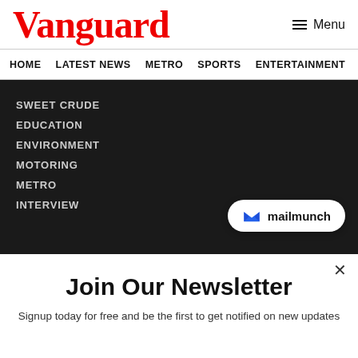Vanguard
Menu
HOME
LATEST NEWS
METRO
SPORTS
ENTERTAINMENT
VIDEOS
SWEET CRUDE
EDUCATION
ENVIRONMENT
MOTORING
METRO
INTERVIEW
[Figure (logo): Mailmunch logo badge with blue M icon and text 'mailmunch']
Join Our Newsletter
Signup today for free and be the first to get notified on new updates